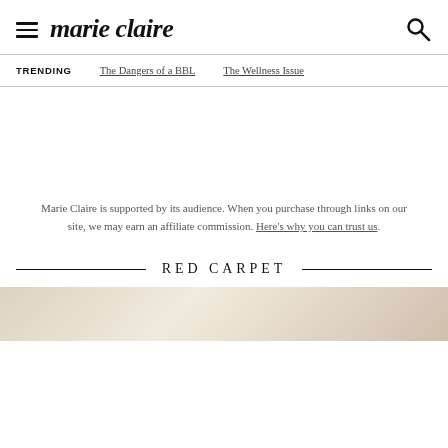marie claire
TRENDING   The Dangers of a BBL   The Wellness Issue
Marie Claire is supported by its audience. When you purchase through links on our site, we may earn an affiliate commission. Here's why you can trust us.
RED CARPET
[Figure (photo): Partial image of a red carpet fashion photo, cropped at bottom of page]